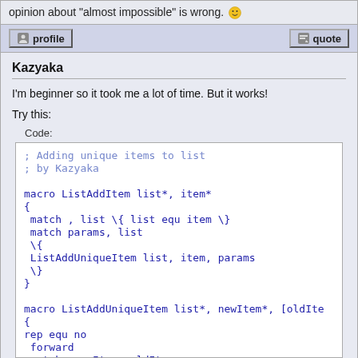opinion about "almost impossible" is wrong. 😀
profile   quote
Kazyaka
I'm beginner so it took me a lot of time. But it works!
Try this:
Code:
; Adding unique items to list
; by Kazyaka

macro ListAddItem list*, item*
{
 match , list \{ list equ item \}
 match params, list
 \{
 ListAddUniqueItem list, item, params
 \}
}

macro ListAddUniqueItem list*, newItem*, [oldIte
{
rep equ no
 forward
 match  newItem, oldItem
 \{
 rep equ yes